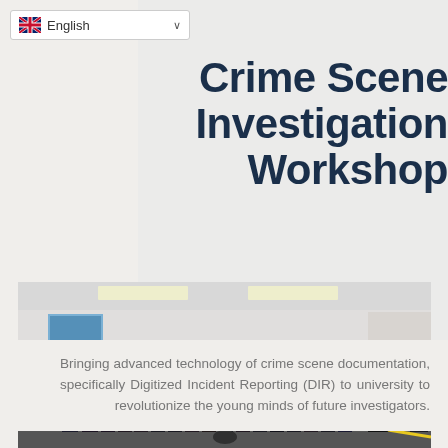English
Crime Scene Investigation Workshop
Bringing advanced technology of crime scene documentation, specifically Digitized Incident Reporting (DIR) to university to revolutionize the young minds of future investigators.
[Figure (photo): A group of university students standing in a classroom/seminar room listening to a presenter in a black shirt with a yellow lanyard. The presenter faces away from the camera toward the large group.]